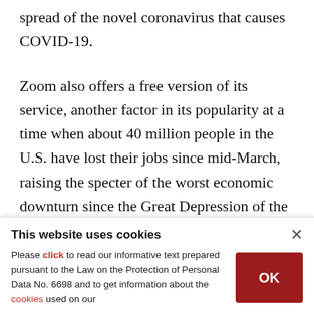spread of the novel coronavirus that causes COVID-19.
Zoom also offers a free version of its service, another factor in its popularity at a time when about 40 million people in the U.S. have lost their jobs since mid-March, raising the specter of the worst economic downturn since the Great Depression of the 1930s.
The San Jose, California, company has always made
This website uses cookies
Please click to read our informative text prepared pursuant to the Law on the Protection of Personal Data No. 6698 and to get information about the cookies used on our